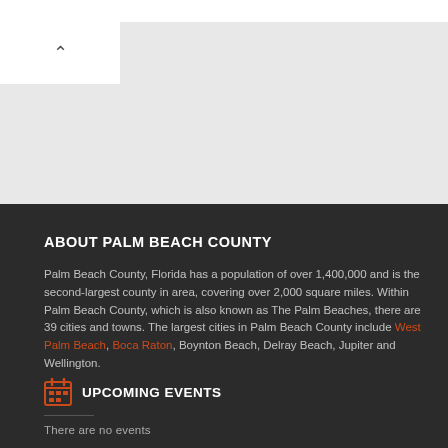ABOUT PALM BEACH COUNTY
Palm Beach County, Florida has a population of over 1,400,000 and is the second-largest county in area, covering over 2,000 square miles. Within Palm Beach County, which is also known as The Palm Beaches, there are 39 cities and towns. The largest cities in Palm Beach County include West Palm Beach, Boca Raton, Boynton Beach, Delray Beach, Jupiter and Wellington.
UPCOMING EVENTS
There are no events